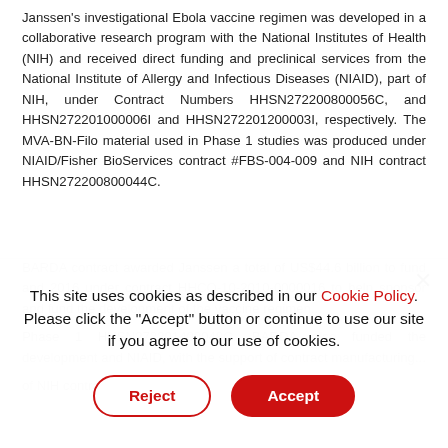Janssen's investigational Ebola vaccine regimen was developed in a collaborative research program with the National Institutes of Health (NIH) and received direct funding and preclinical services from the National Institute of Allergy and Infectious Diseases (NIAID), part of NIH, under Contract Numbers HHSN272200800056C, and HHSN272201000006I and HHSN272201200003I, respectively. The MVA-BN-Filo material used in Phase 1 studies was produced under NIAID/Fisher BioServices contract #FBS-004-009 and NIH contract HHSN272200800044C.
BARDA contract awarded Janssen a total of US$44.6 billion to fund and 2016 under contract HHCO-10-2010-0000016 to help sponsor...
This site uses cookies as described in our Cookie Policy. Please click the "Accept" button or continue to use our site if you agree to our use of cookies.